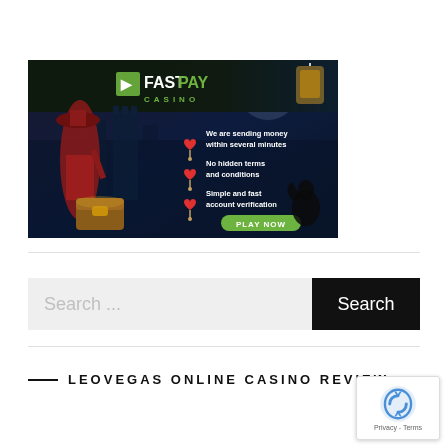[Figure (illustration): FastPay Casino advertisement banner with dark blue/night background, female character in red outfit, floating red hearts, treasure chest, raven. Text: 'We are sending money within several minutes', 'No hidden terms and conditions', 'Simple and fast account verification', 'PLAY NOW' button in green. FastPay Casino logo at top.]
Search ...
Search
LEOVEGAS ONLINE CASINO REVIEW